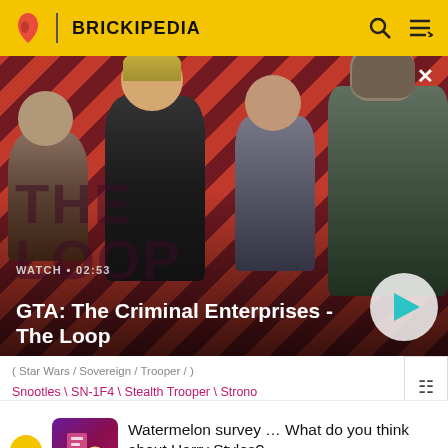BRICKIPEDIA
[Figure (screenshot): Video thumbnail for GTA: The Criminal Enterprises - The Loop showing four game characters on a red diagonal striped background. Duration shown as 02:53. Includes a play button circle on the right.]
GTA: The Criminal Enterprises - The Loop
WATCH • 02:53
Snootles \ SN-1F4 \ Stealth Trooper \ Strono \ "Cookie" Tuggs \ Strus Clan Leader ◆ \ Stru
[Figure (illustration): Survey advertisement with purple/pink icon showing a circular symbol. Arrow chevron on left.]
Watermelon survey … What do you think about Harry Styles?
TAKE THE SURVEY HERE